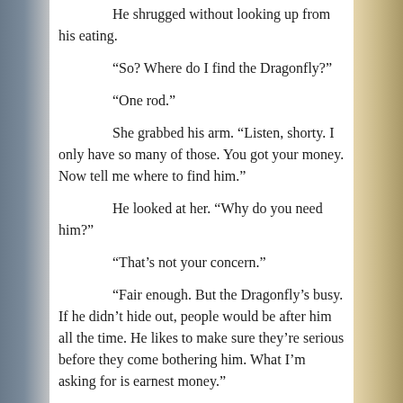He shrugged without looking up from his eating.
“So? Where do I find the Dragonfly?”
“One rod.”
She grabbed his arm. “Listen, shorty. I only have so many of those. You got your money. Now tell me where to find him.”
He looked at her. “Why do you need him?”
“That’s not your concern.”
“Fair enough. But the Dragonfly’s busy. If he didn’t hide out, people would be after him all the time. He likes to make sure they’re serious before they come bothering him. What I’m asking for is earnest money.”